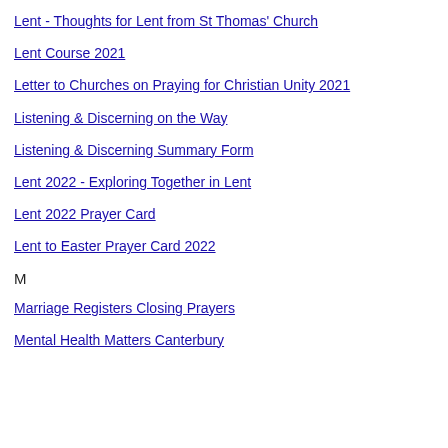Lent - Thoughts for Lent from St Thomas' Church
Lent Course 2021
Letter to Churches on Praying for Christian Unity 2021
Listening & Discerning on the Way
Listening & Discerning Summary Form
Lent 2022 - Exploring Together in Lent
Lent 2022 Prayer Card
Lent to Easter Prayer Card 2022
M
Marriage Registers Closing Prayers
Mental Health Matters Canterbury